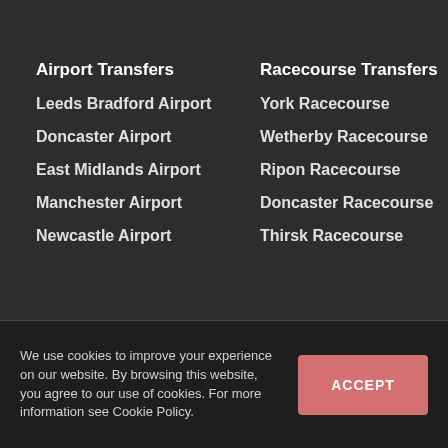Airport Transfers
Racecourse Transfers
Leeds Bradford Airport
York Racecourse
Doncaster Airport
Wetherby Racecourse
East Midlands Airport
Ripon Racecourse
Manchester Airport
Doncaster Racecourse
Newcastle Airport
Thirsk Racecourse
We use cookies to improve your experience on our website. By browsing this website, you agree to our use of cookies. For more information see Cookie Policy.